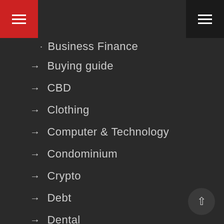Navigation menu header
Business Finance
Buying guide
CBD
Clothing
Computer & Technology
Condominium
Crypto
Debt
Dental
Digitizing
Drug Test
Education
Electronics
Entertainment
Eye Care